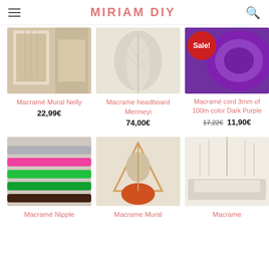MIRIAM DIY
[Figure (photo): Macramé mural wall hanging Nelly product image]
Macramé Mural Nelly
22,99€
[Figure (photo): Macrame headboard Mermeyi product image]
Macrame headboard Mermeyi
74,00€
[Figure (photo): Macramé cord 3mm of 100m color Dark Purple with Sale badge]
Macramé cord 3mm of 100m color Dark Purple
17,22€  11,90€
[Figure (photo): Macramé Nipple product image showing colorful braided cords]
Macramé Nipple
[Figure (photo): Macrame Mural product image with triangle shape and orange feather]
Macrame Mural
[Figure (photo): Macrame wall hanging above bed product image]
Macrame